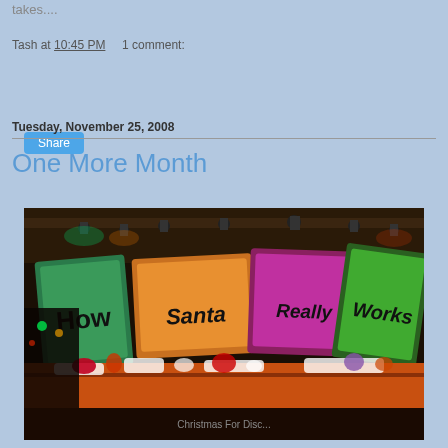takes....
Tash at 10:45 PM    1 comment:
Share
Tuesday, November 25, 2008
One More Month
[Figure (photo): A dark photograph of a store window display showing colorful signs reading 'How Santa Really Works' with Christmas decorations including figurines and miniature winter village scenes below.]